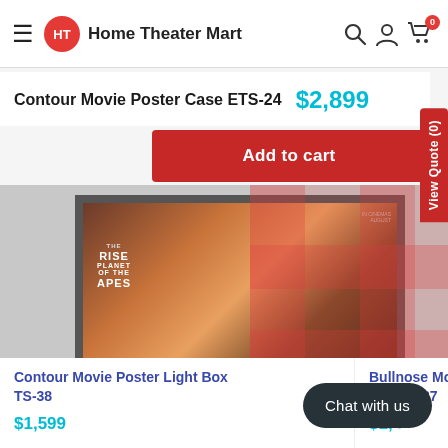Home Theater Mart
Contour Movie Poster Case ETS-24  $2,899
Add to cart
[Figure (photo): Movie poster frames displayed: Rise of the Planet of the Apes poster in a dark contour frame; partial view of Sherlock Holmes poster frame on the right; pink/red grid overlay on image]
View Quote (0)
Contour Movie Poster Light Box TS-38
$1,599
Bullnose Movie Poster Box TS-37
$1,499
Chat with us